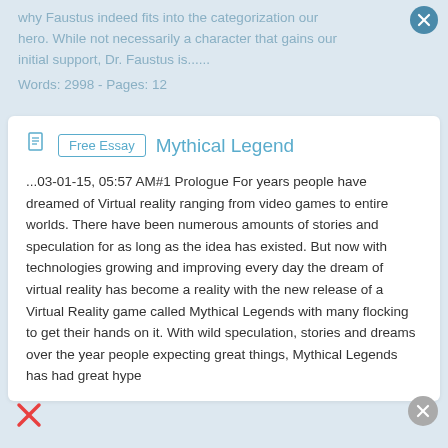why Faustus indeed fits into the categorization hero. While not necessarily a character that gains our initial support, Dr. Faustus is......
Words: 2998 - Pages: 12
Mythical Legend
...03-01-15, 05:57 AM#1 Prologue For years people have dreamed of Virtual reality ranging from video games to entire worlds. There have been numerous amounts of stories and speculation for as long as the idea has existed. But now with technologies growing and improving every day the dream of virtual reality has become a reality with the new release of a Virtual Reality game called Mythical Legends with many flocking to get their hands on it. With wild speculation, stories and dreams over the year people expecting great things, Mythical Legends has had great hype